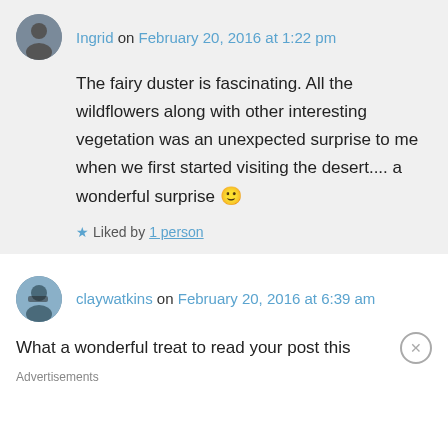Ingrid on February 20, 2016 at 1:22 pm
The fairy duster is fascinating. All the wildflowers along with other interesting vegetation was an unexpected surprise to me when we first started visiting the desert.... a wonderful surprise 🙂
★ Liked by 1 person
claywatkins on February 20, 2016 at 6:39 am
What a wonderful treat to read your post this
Advertisements